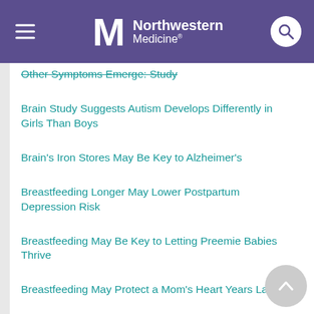Northwestern Medicine
Other Symptoms Emerge: Study
Brain Study Suggests Autism Develops Differently in Girls Than Boys
Brain's Iron Stores May Be Key to Alzheimer's
Breastfeeding Longer May Lower Postpartum Depression Risk
Breastfeeding May Be Key to Letting Preemie Babies Thrive
Breastfeeding May Protect a Mom's Heart Years Later
California to Pay Reparations to Victims of Forced Sterilization
Can a Computer Program Help Docs Spot Breast Cancer?